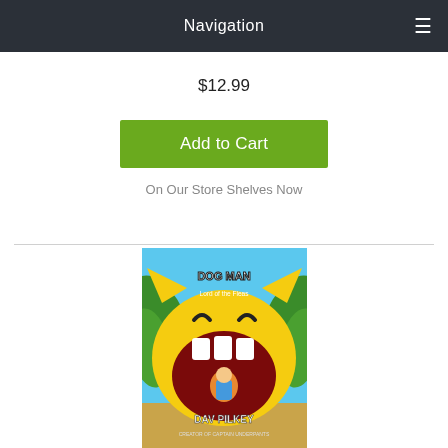Navigation
$12.99
Add to Cart
On Our Store Shelves Now
[Figure (photo): Book cover of Dog Man: Lord of the Fleas by Dav Pilkey, showing a cartoon cat character with a wide open mouth and a small dog/character inside, with jungle leaves in the background, on a blue and sandy background.]
Dog Man: Lord of the Fleas: A Graphic Novel (Dog Man #5): From the Creator of Captain Underpants (Hardcover)
By Dav Pilkey, Dav Pilkey (Illustrator)